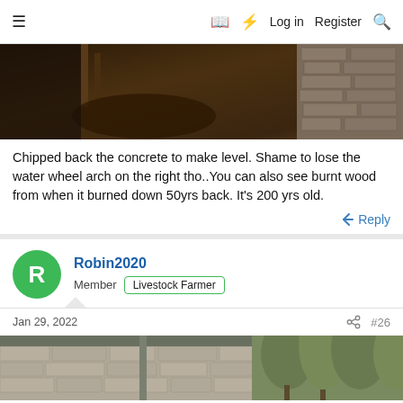≡  Log in  Register
[Figure (photo): Interior of an old stone building with debris, concrete, exposed stonework and wooden beams]
Chipped back the concrete to make level. Shame to lose the water wheel arch on the right tho..You can also see burnt wood from when it burned down 50yrs back. It's 200 yrs old.
Reply
Robin2020
Member  Livestock Farmer
Jan 29, 2022  #26
[Figure (photo): Exterior of an old stone building with a slate roof, drainage pipes and trees in background]